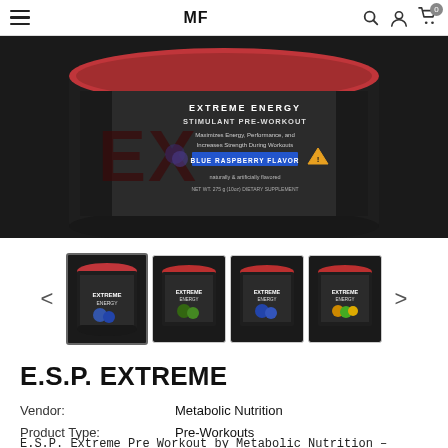MF | E.S.P. Extreme Energy Stimulant Pre-Workout | Navigation bar with hamburger menu, search, account, cart (0)
[Figure (photo): Large close-up photo of a black tub of E.S.P. Extreme pre-workout supplement by Metabolic Nutrition (MF), Blue Raspberry Flavor, on a dark background. Label reads: EXTREME ENERGY STIMULANT PRE-WORKOUT, Maximizes Energy, Performance, and Increases Strength During Workouts, BLUE RASPBERRY FLAVOR, naturally & artificially flavored, NET WT. 275 g (10oz) DIETARY SUPPLEMENT. Warning triangle icon visible.]
[Figure (photo): Row of 4 thumbnail images of E.S.P. Extreme pre-workout tubs in different flavors: Blue Raspberry (selected, first), Green/lime flavor, Blue flavor, and Tropical/pineapple flavor. Navigation arrows (< >) on either side.]
E.S.P. EXTREME
Vendor:  Metabolic Nutrition
Product Type:  Pre-Workouts
E.S.P. Extreme Pre Workout by Metabolic Nutrition – Designed for